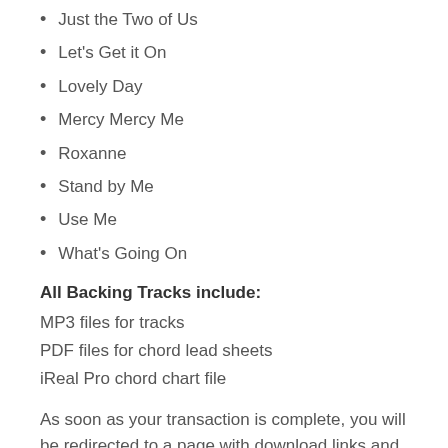Just the Two of Us
Let's Get it On
Lovely Day
Mercy Mercy Me
Roxanne
Stand by Me
Use Me
What's Going On
All Backing Tracks include:
MP3 files for tracks
PDF files for chord lead sheets
iReal Pro chord chart file
As soon as your transaction is complete, you will be redirected to a page with download links and sent an email with the same download links. You will also be able to access all purchases by logging in to your account created